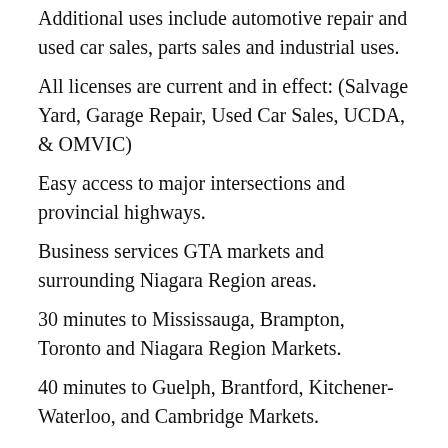Additional uses include automotive repair and used car sales, parts sales and industrial uses.
All licenses are current and in effect: (Salvage Yard, Garage Repair, Used Car Sales, UCDA, & OMVIC)
Easy access to major intersections and provincial highways.
Business services GTA markets and surrounding Niagara Region areas.
30 minutes to Mississauga, Brampton, Toronto and Niagara Region Markets.
40 minutes to Guelph, Brantford, Kitchener-Waterloo, and Cambridge Markets.
Additional Notes: